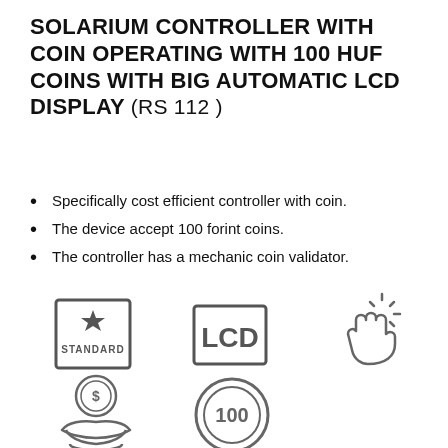SOLARIUM CONTROLLER WITH COIN OPERATING WITH 100 HUF COINS WITH BIG AUTOMATIC LCD DISPLAY (RS 112 )
Specifically cost efficient controller with coin.
The device accept 100 forint coins.
The controller has a mechanic coin validator.
[Figure (infographic): Five icons: Standard badge with star, LCD display label, touch/hand with sparkle icon, coin-on-hand icon, 100 coin circle icon]